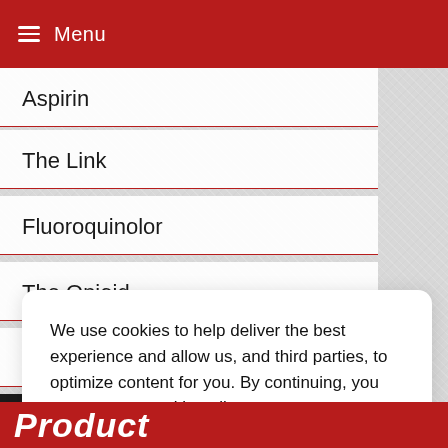Menu
Aspirin
The Link
Fluoroquinolor
The Opioid
Neuropathy
NUPHORIA Quality
We use cookies to help deliver the best experience and allow us, and third parties, to optimize content for you. By continuing, you agree to our cookie policy.
GOT IT
Learn More
Product